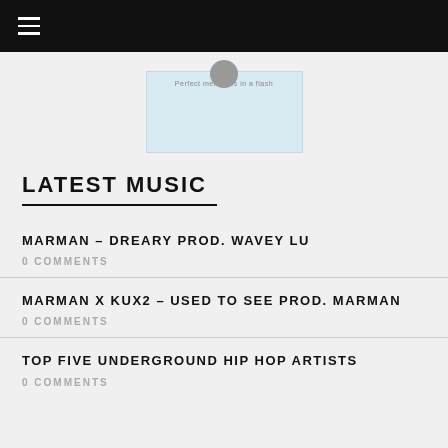≡
[Figure (logo): Website logo with light blue rectangle and circular element, tagline 'Perfect memories in a flash']
LATEST MUSIC
MARMAN – DREARY PROD. WAVEY LU
0 COMMENTS
MARMAN X KUX2 – USED TO SEE PROD. MARMAN
0 COMMENTS
TOP FIVE UNDERGROUND HIP HOP ARTISTS
0 COMMENTS